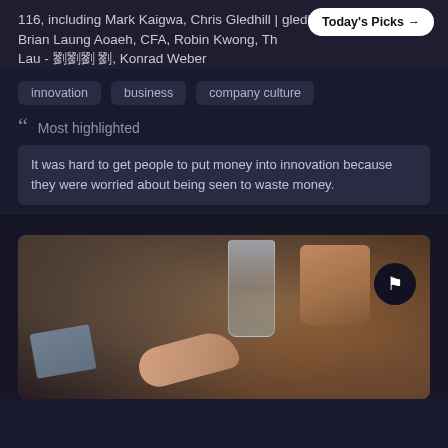116, including Mark Kaigwa, Chris Gledhill | gledhill.eth, Brian Laung Aoaeh, CFA, Robin Kwong, Th... Lau - 劉 劉 劉, Konrad Weber
Today's Picks →
innovation
business
company culture
❝ Most highlighted
It was hard to get people to put money into innovation because they were worried about being seen to waste money.
[Figure (photo): Close-up photo of hands holding a card at a cafe table with a glass of water, a mug, and a book visible in warm vintage tones]